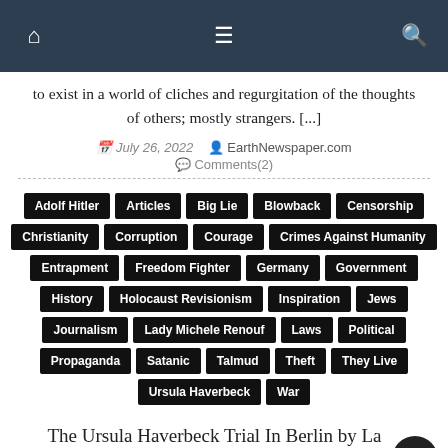Navigation bar with home, menu, and search icons
to exist in a world of cliches and regurgitation of the thoughts of others; mostly strangers. [...]
July 26, 2022   EarthNewspaper.com   Comments(2)
Adolf Hitler
Articles
Big Lie
Blowback
Censorship
Christianity
Corruption
Courage
Crimes Against Humanity
Entrapment
Freedom Fighter
Germany
Government
History
Holocaust Revisionism
Inspiration
Jews
Journalism
Lady Michele Renouf
Laws
Political
Propaganda
Satanic
Talmud
Theft
They Live
Ursula Haverbeck
War
The Ursula Haverbeck Trial In Berlin by Lady Michèle Renouf